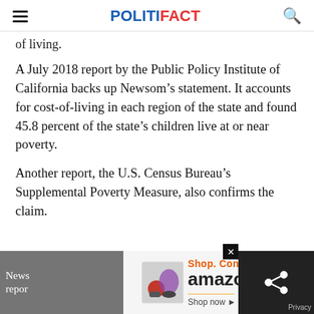POLITIFACT
of living.
A July 2018 report by the Public Policy Institute of California backs up Newsom’s statement. It accounts for cost-of-living in each region of the state and found 45.8 percent of the state’s children live at or near poverty.
Another report, the U.S. Census Bureau’s Supplemental Poverty Measure, also confirms the claim.
News
repor